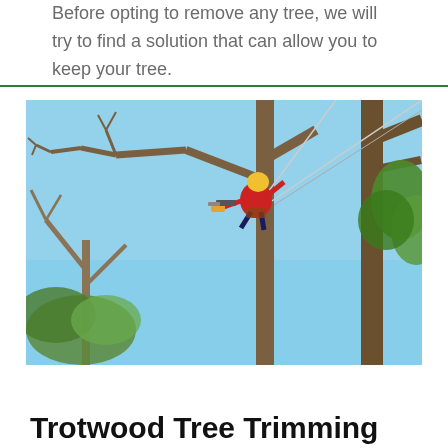Before opting to remove any tree, we will try to find a solution that can allow you to keep your tree.
[Figure (photo): An arborist in a red shirt and yellow helmet climbs and trims a large bare tree using a chainsaw, with ropes attached, against a blue sky background with leafy trees below.]
Trotwood Tree Trimming